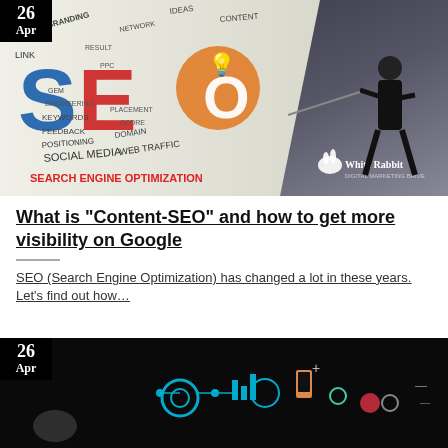[Figure (photo): SEO concept image showing a woman pulling a curtain with SEO-related words (search engine optimization, web traffic, social media, keywords, domain, PPC, SEM, branding, etc.) and a White Rabbit agency logo. Date badge showing 26 Apr in top left corner.]
What is "Content-SEO" and how to get more visibility on Google
SEO (Search Engine Optimization) has changed a lot in these years. Let's find out how…
[Figure (photo): Dark background digital marketing / technology concept image with icons for social media, mobile, analytics, location pin, gear and connected nodes. Date badge showing 26 Apr in top left corner.]